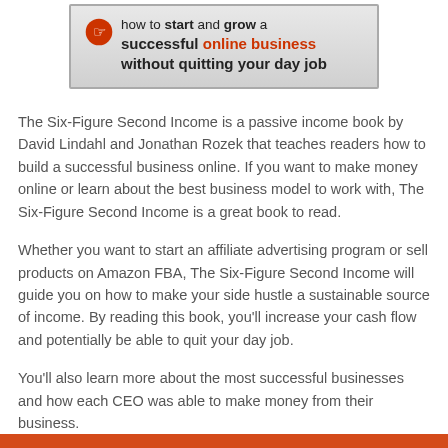[Figure (illustration): Book cover banner showing a flame/hand icon and text: 'how to start and grow a successful online business without quitting your day job' on a grey gradient background with a border]
The Six-Figure Second Income is a passive income book by David Lindahl and Jonathan Rozek that teaches readers how to build a successful business online. If you want to make money online or learn about the best business model to work with, The Six-Figure Second Income is a great book to read.
Whether you want to start an affiliate advertising program or sell products on Amazon FBA, The Six-Figure Second Income will guide you on how to make your side hustle a sustainable source of income. By reading this book, you'll increase your cash flow and potentially be able to quit your day job.
You'll also learn more about the most successful businesses and how each CEO was able to make money from their business.